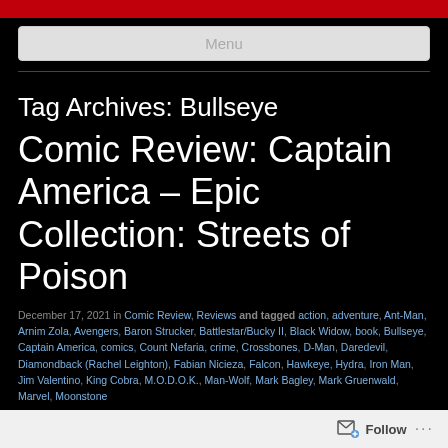Menu
Tag Archives: Bullseye
Comic Review: Captain America – Epic Collection: Streets of Poison
December 17, 2021 in Comic Review, Reviews and tagged action, adventure, Ant-Man, Arnim Zola, Avengers, Baron Strucker, Battlestar/Bucky II, Black Widow, book, Bullseye, Captain America, comics, Count Nefaria, crime, Crossbones, D-Man, Daredevil, Diamondback (Rachel Leighton), Fabian Nicieza, Falcon, Hawkeye, Hydra, Iron Man, Jim Valentino, King Cobra, M.O.D.O.K., Man-Wolf, Mark Bagley, Mark Gruenwald, Marvel, Moonstone
Follow ...